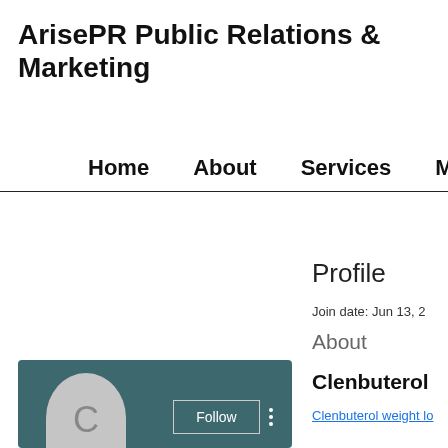ArisePR Public Relations & Marketing
Home   About   Services   Me…
Profile
Join date: Jun 13, 2…
About
Clenbuterol
Clenbuterol weight lo…
[Figure (screenshot): User profile card with teal/dark green background, circular avatar with letter C, Follow button, and more options (three dots) button]